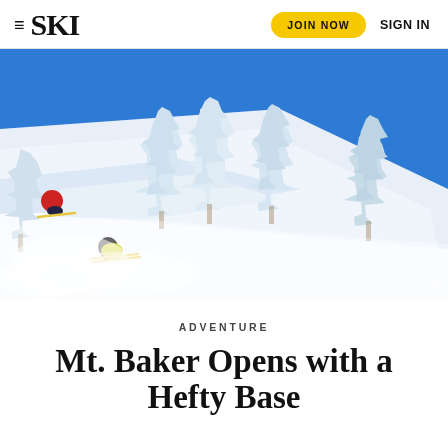≡ SKI  JOIN NOW  SIGN IN
[Figure (photo): Aerial view of skiers descending a steep snow-covered slope with snow-laden evergreen trees and vivid blue sky in the background. Two skiers visible, one in red jacket and one in yellow, kicking up powder snow.]
ADVENTURE
Mt. Baker Opens with a Hefty Base